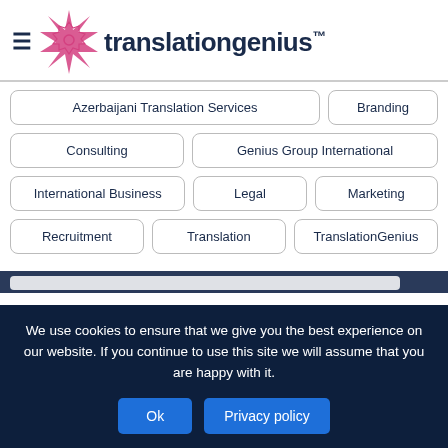translationgenius™
Azerbaijani Translation Services
Branding
Consulting
Genius Group International
International Business
Legal
Marketing
Recruitment
Translation
TranslationGenius
We use cookies to ensure that we give you the best experience on our website. If you continue to use this site we will assume that you are happy with it.
Ok  Privacy policy